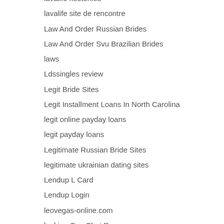lavalife kostenlos
lavalife site de rencontre
Law And Order Russian Brides
Law And Order Svu Brazilian Brides
laws
Ldssingles review
Legit Bride Sites
Legit Installment Loans In North Carolina
legit online payday loans
legit payday loans
Legitimate Russian Bride Sites
legitimate ukrainian dating sites
Lendup L Card
Lendup Login
leovegas-online.com
looking Gay Chat Rooms